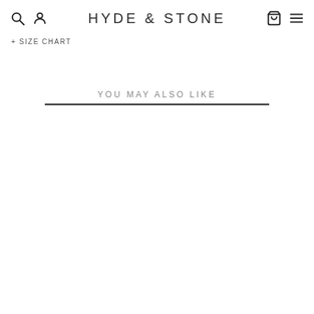HYDE & STONE
+ SIZE CHART
YOU MAY ALSO LIKE